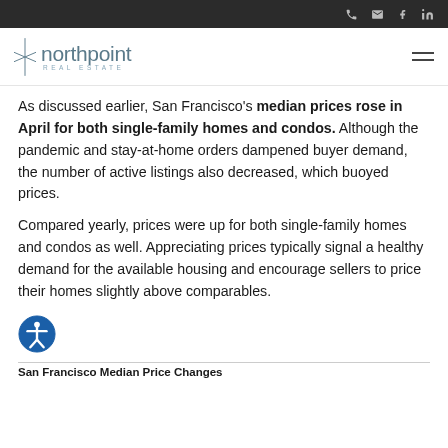northpoint REAL ESTATE
As discussed earlier, San Francisco's median prices rose in April for both single-family homes and condos. Although the pandemic and stay-at-home orders dampened buyer demand, the number of active listings also decreased, which buoyed prices.
Compared yearly, prices were up for both single-family homes and condos as well. Appreciating prices typically signal a healthy demand for the available housing and encourage sellers to price their homes slightly above comparables.
San Francisco Median Price Changes